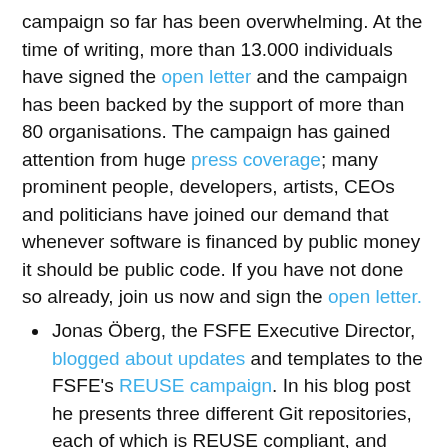campaign so far has been overwhelming. At the time of writing, more than 13.000 individuals have signed the open letter and the campaign has been backed by the support of more than 80 organisations. The campaign has gained attention from huge press coverage; many prominent people, developers, artists, CEOs and politicians have joined our demand that whenever software is financed by public money it should be public code. If you have not done so already, join us now and sign the open letter.
Jonas Öberg, the FSFE Executive Director, blogged about updates and templates to the FSFE's REUSE campaign. In his blog post he presents three different Git repositories, each of which is REUSE compliant, and which demonstrate different parts of recommended REUSE practices.
Kristi Progri, project assistant for the FSFE, blogged about our ongoing identity process and how to become part of the involved interview process.